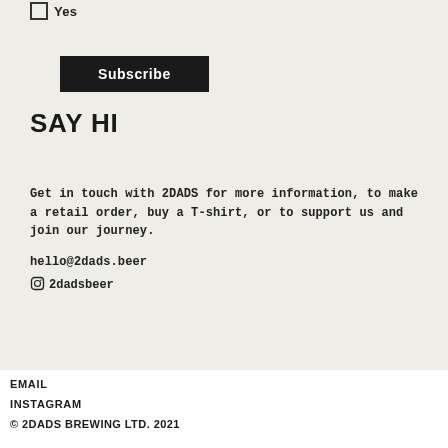Yes
Subscribe
SAY HI
Get in touch with 2DADS for more information, to make a retail order, buy a T-shirt, or to support us and join our journey.
hello@2dads.beer
@2dadsbeer
EMAIL
INSTAGRAM
© 2DADS BREWING LTD. 2021